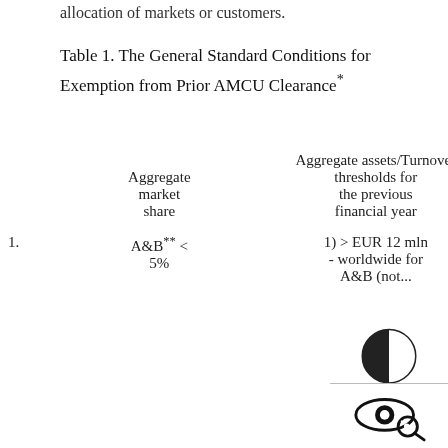allocation of markets or customers.
Table 1. The General Standard Conditions for Exemption from Prior AMCU Clearance*
| No. | Aggregate market share | Aggregate assets/Turnover thresholds for the previous financial year | Other conditions | Prior AMCU clearance |
| --- | --- | --- | --- | --- |
| 1. | A&B** < 5% | 1) > EUR 12 mln - worldwide for A&B (not shown) | — | not (partially shown) |